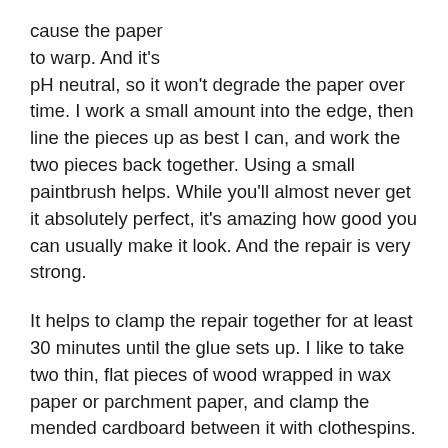cause the paper to warp. And it's pH neutral, so it won't degrade the paper over time. I work a small amount into the edge, then line the pieces up as best I can, and work the two pieces back together. Using a small paintbrush helps. While you'll almost never get it absolutely perfect, it's amazing how good you can usually make it look. And the repair is very strong.
It helps to clamp the repair together for at least 30 minutes until the glue sets up. I like to take two thin, flat pieces of wood wrapped in wax paper or parchment paper, and clamp the mended cardboard between it with clothespins. The glue won't stick to wax or parchment paper.
When the box has come unglued, I use the same glue to glue the edges back together. I often need to clamp it, especially if the paper is coated. But the resulting joint is stronger than the